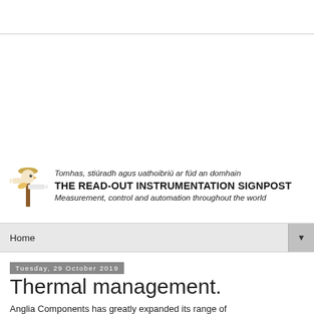[Figure (logo): The Read-Out Instrumentation Signpost logo featuring a cartoon bird/figure holding a signpost, with Irish and English taglines]
Home
Tuesday, 29 October 2019
Thermal management.
Anglia Components has greatly expanded its range of